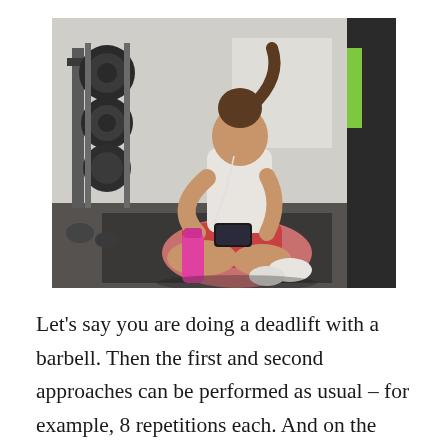[Figure (photo): A young woman with a ponytail sitting cross-legged on a gym floor, looking at her smartphone. She wears a white tank top and red shorts, with a pink water bottle beside her. In the background are weight racks with black barbell plates and dumbbells. Another person in black pants is partially visible on the right edge.]
Let’s say you are doing a deadlift with a barbell. Then the first and second approaches can be performed as usual – for example, 8 repetitions each. And on the third and fourth